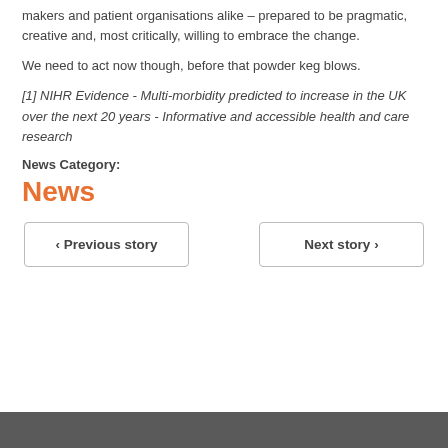makers and patient organisations alike – prepared to be pragmatic, creative and, most critically, willing to embrace the change.
We need to act now though, before that powder keg blows.
[1] NIHR Evidence - Multi-morbidity predicted to increase in the UK over the next 20 years - Informative and accessible health and care research
News Category:
News
‹ Previous story
Next story ›